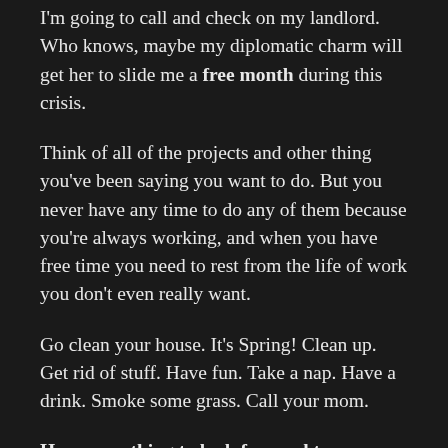I'm going to call and check on my landlord. Who knows, maybe my diplomatic charm will get her to slide me a free month during this crisis.
Think of all of the projects and other thing you've been saying you want to do. But you never have any time to do any of them because you're always working, and when you have free time you need to rest from the life of work you don't even really want.
Go clean your house. It's Spring! Clean up. Get rid of stuff. Have fun. Take a nap. Have a drink. Smoke some grass. Call your mom.
Have something to look forward to. Remember